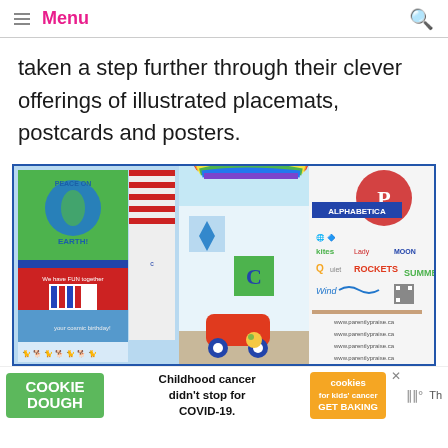Menu
taken a step further through their clever offerings of illustrated placemats, postcards and posters.
[Figure (photo): Collage of three panels: left panel shows illustrated cards/placemats including a 'Peace on Earth' globe design and colorful animal/birthday designs; center panel shows a children's room with a rainbow wall decal and an orange toy car; right panel shows an Alphabetica poster/product sheet with colorful illustrated letter icons including kites, rockets, summer and more, with a Pinterest logo overlay.]
Childhood cancer didn't stop for COVID-19.